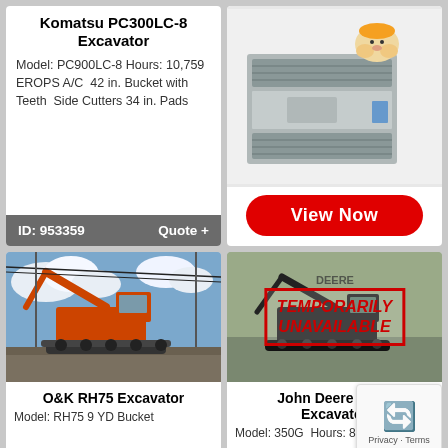Komatsu PC300LC-8 Excavator
Model: PC900LC-8 Hours: 10,759 EROPS A/C  42 in. Bucket with  Teeth  Side Cutters 34 in. Pads
ID: 953359   Quote +
[Figure (photo): Advertisement image showing an industrial HVAC unit with a cartoon hamster wearing a hard hat sitting on top. Red 'View Now' button below.]
[Figure (photo): Photo of an O&K RH75 excavator, large orange mining excavator on a rocky site with cloudy sky.]
O&K RH75 Excavator
Model: RH75 9 YD Bucket
[Figure (photo): Photo of a John Deere 350G excavator on a job site with 'TEMPORARILY UNAVAILABLE' overlay text in red.]
John Deere 350G Excavator
Model: 350G  Hours: 8,000